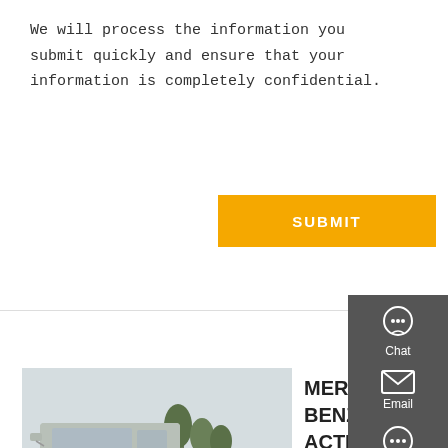We will process the information you submit quickly and ensure that your information is completely confidential.
[Figure (other): Orange SUBMIT button]
[Figure (photo): Silver Mercedes-Benz Actros truck cab parked in a lot]
MERCEDES-BENZ ACTROS 4144 Dump Truck For Sale Poland
MERCEDES-BENZ ACTROS 4144 dump truck sale